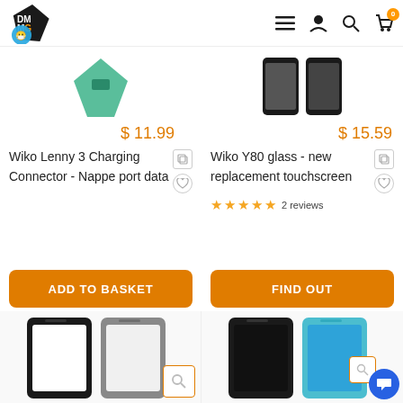DMMC store header with logo and navigation icons (hamburger, user, search, cart with 0 badge)
$11.99
Wiko Lenny 3 Charging Connector - Nappe port data
$15.59
Wiko Y80 glass - new replacement touchscreen
★★★★★ 2 reviews
ADD TO BASKET
FIND OUT
[Figure (screenshot): Bottom row of product images showing phone screen replacement parts]
[Figure (screenshot): Bottom row right side showing phone screen replacement parts with chat button]